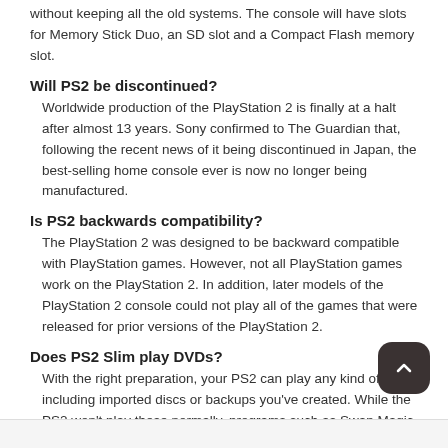without keeping all the old systems. The console will have slots for Memory Stick Duo, an SD slot and a Compact Flash memory slot.
Will PS2 be discontinued?
Worldwide production of the PlayStation 2 is finally at a halt after almost 13 years. Sony confirmed to The Guardian that, following the recent news of it being discontinued in Japan, the best-selling home console ever is now no longer being manufactured.
Is PS2 backwards compatibility?
The PlayStation 2 was designed to be backward compatible with PlayStation games. However, not all PlayStation games work on the PlayStation 2. In addition, later models of the PlayStation 2 console could not play all of the games that were released for prior versions of the PlayStation 2.
Does PS2 Slim play DVDs?
With the right preparation, your PS2 can play any kind of DVD, including imported discs or backups you've created. While the PS2 won't play these normally, programs such as Swap Magic or Region X allow you to bypass the console's restrictions.